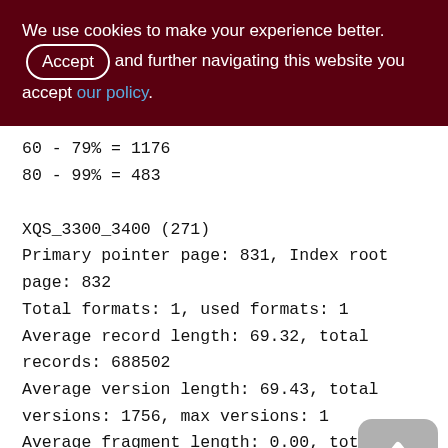We use cookies to make your experience better. By accepting and further navigating this website you accept our policy.
60 - 79% = 1176
80 - 99% = 483
XQS_3300_3400 (271)
Primary pointer page: 831, Index root page: 832
Total formats: 1, used formats: 1
Average record length: 69.32, total records: 688502
Average version length: 69.43, total versions: 1756, max versions: 1
Average fragment length: 0.00, total fragments: 0, max fragments: 0